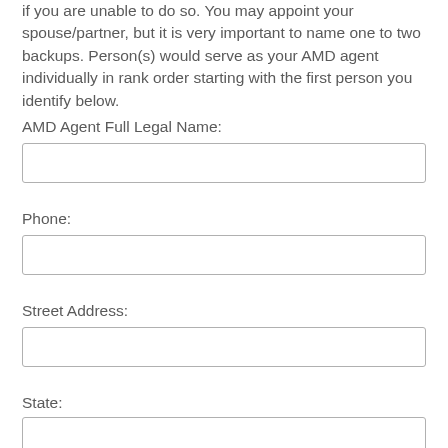if you are unable to do so. You may appoint your spouse/partner, but it is very important to name one to two backups. Person(s) would serve as your AMD agent individually in rank order starting with the first person you identify below.
AMD Agent Full Legal Name:
Phone:
Street Address:
State: